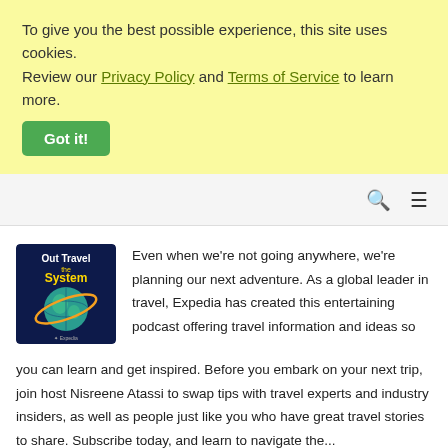To give you the best possible experience, this site uses cookies. Review our Privacy Policy and Terms of Service to learn more.
Got it!
[Figure (logo): Out Travel the System podcast cover art — dark navy blue background with 'Out Travel the System' text and globe graphic with orbital rings, Expedia branding at bottom]
Even when we're not going anywhere, we're planning our next adventure. As a global leader in travel, Expedia has created this entertaining podcast offering travel information and ideas so you can learn and get inspired. Before you embark on your next trip, join host Nisreene Atassi to swap tips with travel experts and industry insiders, as well as people just like you who have great travel stories to share. Subscribe today, and learn to navigate the...